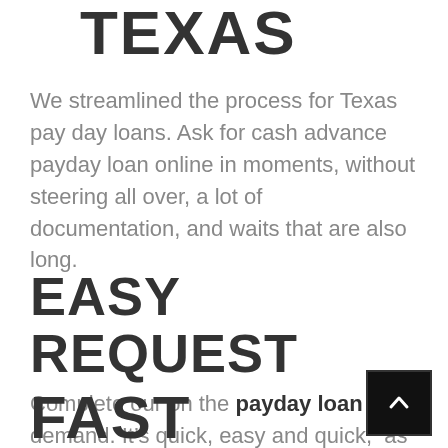TEXAS
We streamlined the process for Texas pay day loans. Ask for cash advance payday loan online in moments, without steering all over, a lot of documentation, and waits that are also long.
EASY REQUEST
Complete our on the payday loan net demand. It’s quick, easy and quick, as well as protect.
FAST